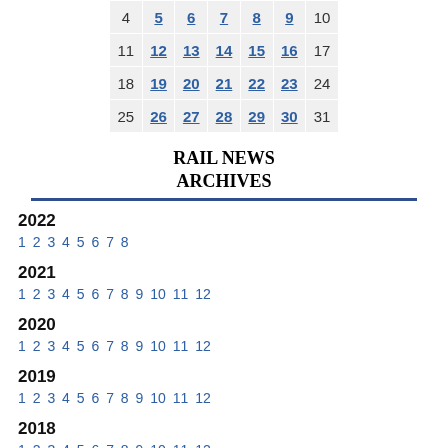| 4 | 5 | 6 | 7 | 8 | 9 | 10 |
| 11 | 12 | 13 | 14 | 15 | 16 | 17 |
| 18 | 19 | 20 | 21 | 22 | 23 | 24 |
| 25 | 26 | 27 | 28 | 29 | 30 | 31 |
RAIL NEWS ARCHIVES
2022
1 2 3 4 5 6 7 8
2021
1 2 3 4 5 6 7 8 9 10 11 12
2020
1 2 3 4 5 6 7 8 9 10 11 12
2019
1 2 3 4 5 6 7 8 9 10 11 12
2018
1 2 3 4 5 6 7 8 9 10 11 12
2017
1 2 3 4 5 6 7 8 9 10 11 12